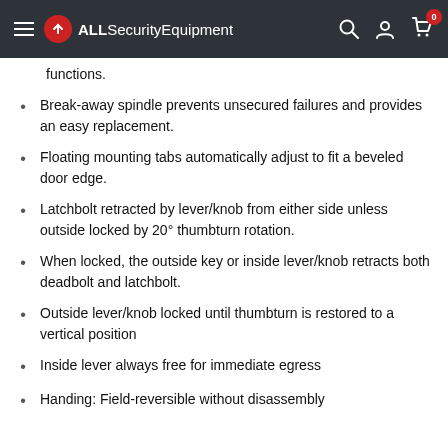ALLSecurityEquipment
functions.
Break-away spindle prevents unsecured failures and provides an easy replacement.
Floating mounting tabs automatically adjust to fit a beveled door edge.
Latchbolt retracted by lever/knob from either side unless outside locked by 20° thumbturn rotation.
When locked, the outside key or inside lever/knob retracts both deadbolt and latchbolt.
Outside lever/knob locked until thumbturn is restored to a vertical position
Inside lever always free for immediate egress
Handing: Field-reversible without disassembly